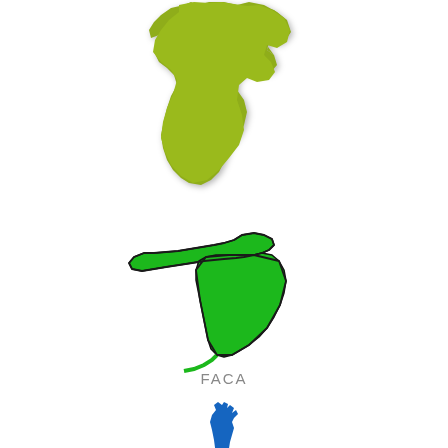[Figure (map): Silhouette map of Michigan state in olive/yellow-green color, representing MITCA]
MITCA
[Figure (map): Silhouette map of Florida state in bright green color with dark outline, representing FACA]
FACA
[Figure (illustration): Blue hand/arm reaching upward, partially visible at bottom of page]